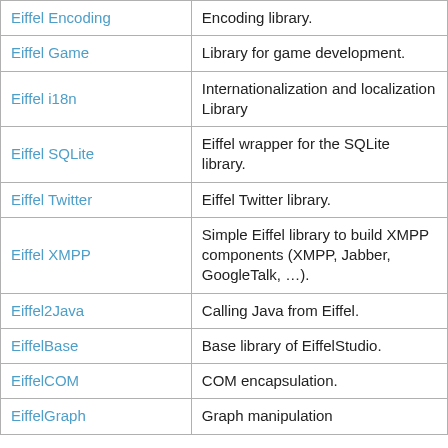| Name | Description |
| --- | --- |
| Eiffel Encoding | Encoding library. |
| Eiffel Game | Library for game development. |
| Eiffel i18n | Internationalization and localization Library |
| Eiffel SQLite | Eiffel wrapper for the SQLite library. |
| Eiffel Twitter | Eiffel Twitter library. |
| Eiffel XMPP | Simple Eiffel library to build XMPP components (XMPP, Jabber, GoogleTalk, …). |
| Eiffel2Java | Calling Java from Eiffel. |
| EiffelBase | Base library of EiffelStudio. |
| EiffelCOM | COM encapsulation. |
| EiffelGraph | Graph manipulation |